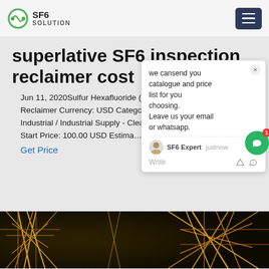SF6 SOLUTION
superlative SF6 inspection reclaimer cost
Jun 11, 2020Sulfur Hexafluoride (SF... Reclaimer Currency: USD Category Industrial / Industrial Supply - Clean... Start Price: 100.00 USD Estima...
Get Price
[Figure (screenshot): Chat popup: 'we cansend you catalogue and price list for you choosing. Leave us your email or whatsapp.' with SF6 Expert responding 'justnow', write/emoji icons below.]
[Figure (photo): Dark photograph of electrical tower/transmission infrastructure at night with golden light tones.]